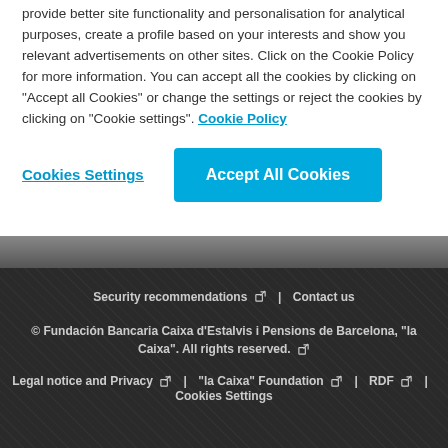provide better site functionality and personalisation for analytical purposes, create a profile based on your interests and show you relevant advertisements on other sites. Click on the Cookie Policy for more information. You can accept all the cookies by clicking on "Accept all Cookies" or change the settings or reject the cookies by clicking on "Cookie settings". Cookie Policy
Cookies Settings | Accept All Cookies
Security recommendations | Contact us
© Fundación Bancaria Caixa d'Estalvis i Pensions de Barcelona, "la Caixa". All rights reserved.
Legal notice and Privacy | "la Caixa" Foundation | RDF | Cookies Settings